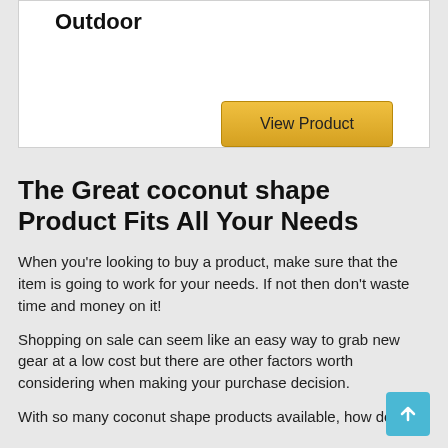Outdoor
[Figure (screenshot): View Product button with golden/yellow gradient background]
The Great coconut shape Product Fits All Your Needs
When you're looking to buy a product, make sure that the item is going to work for your needs. If not then don't waste time and money on it!
Shopping on sale can seem like an easy way to grab new gear at a low cost but there are other factors worth considering when making your purchase decision.
With so many coconut shape products available, how do